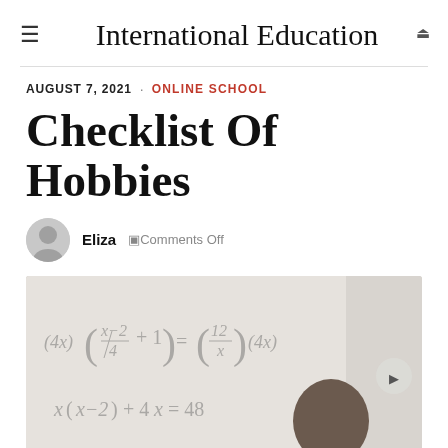International Education
AUGUST 7, 2021 · ONLINE SCHOOL
Checklist Of Hobbies
Eliza  🗨Comments Off
[Figure (photo): A teacher or instructor at a whiteboard with math equations written: (4x)(x-2/4 + 1) = (12/x)(4x) and x(x-2) + 4x = 48]